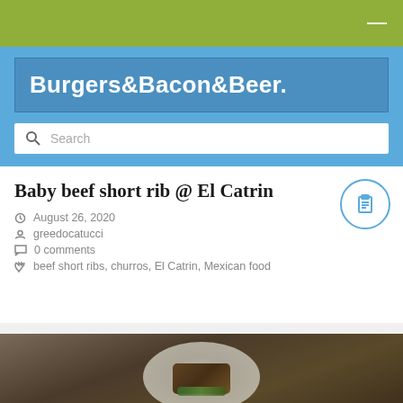Burgers&Bacon&Beer.
Search
Baby beef short rib @ El Catrin
August 26, 2020
greedocatucci
0 comments
beef short ribs, churros, El Catrin, Mexican food
[Figure (photo): Photo of a plate with baby beef short rib dish at El Catrin restaurant]